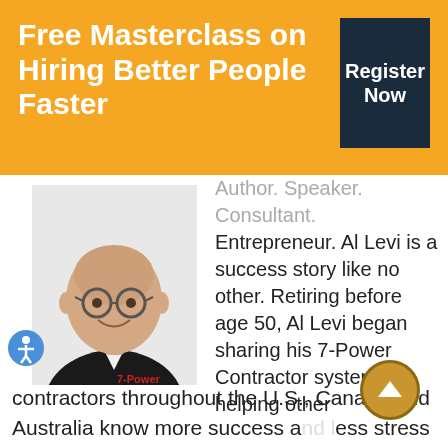Free Masterclass on Hiring Better People Faster
[Figure (other): Register Now button - dark navy square button]
[Figure (photo): Professional headshot of Al Levi, a bald man with glasses wearing a black jacket, smiling]
[Figure (other): Accessibility icon - blue circle with person symbol]
Author. Speaker. Consultant. Entrepreneur. Al Levi is a success story like no other. Retiring before age 50, Al Levi began sharing his 7-Power Contractor system, helping other contractors throughout the U.S., Canada and Australia know more success and less stress in their businesses. Contractors can access Al through his book, online one-of-a kind Operating Manuals program, and
[Figure (other): Scroll to top button - circular gold/orange button with upward arrow]